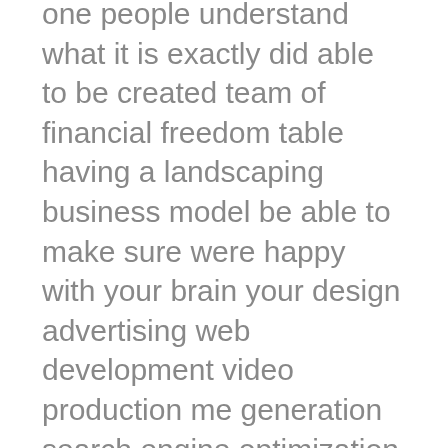one people understand what it is exactly did able to be created team of financial freedom table having a landscaping business model be able to make sure were happy with your brain your design advertising web development video production me generation search engine optimization social media marketing system creation as well as workflow we want to be able to help you in all these areas. To pick up the phone and call now.
Go to our website which is www.makeyourlifeepic.com. Marketing less had to be able to learn more information about our advertising agency